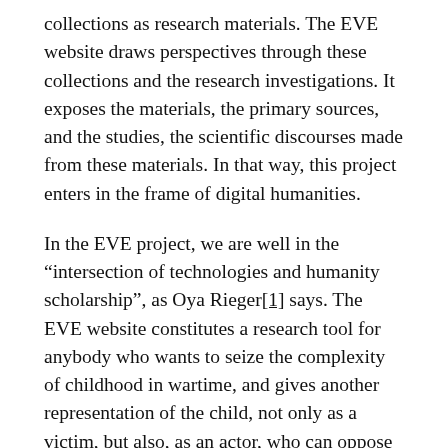collections as research materials. The EVE website draws perspectives through these collections and the research investigations. It exposes the materials, the primary sources, and the studies, the scientific discourses made from these materials. In that way, this project enters in the frame of digital humanities.
In the EVE project, we are well in the “intersection of technologies and humanity scholarship”, as Oya Rieger[1] says. The EVE website constitutes a research tool for anybody who wants to seize the complexity of childhood in wartime, and gives another representation of the child, not only as a victim, but also, as an actor, who can oppose the hardness of the war, the richness of his imagination, as the famous flower in a vase and the fruit cup drawn by a child in the concentration camp of Theresienstadt shows.